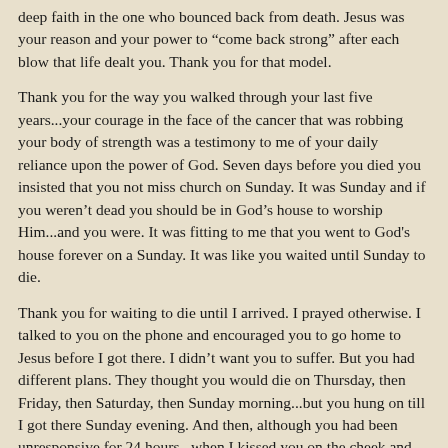deep faith in the one who bounced back from death. Jesus was your reason and your power to “come back strong” after each blow that life dealt you. Thank you for that model.
Thank you for the way you walked through your last five years...your courage in the face of the cancer that was robbing your body of strength was a testimony to me of your daily reliance upon the power of God. Seven days before you died you insisted that you not miss church on Sunday. It was Sunday and if you weren’t dead you should be in God’s house to worship Him...and you were. It was fitting to me that you went to God's house forever on a Sunday. It was like you waited until Sunday to die.
Thank you for waiting to die until I arrived. I prayed otherwise. I talked to you on the phone and encouraged you to go home to Jesus before I got there. I didn't want you to suffer. But you had different plans. They thought you would die on Thursday, then Friday, then Saturday, then Sunday morning...but you hung on till I got there Sunday evening. And then, although you had been unresponsive for 24 hours...when I kissed you on the cheek and told you I loved you, two large tears rolled down your cheek...as if